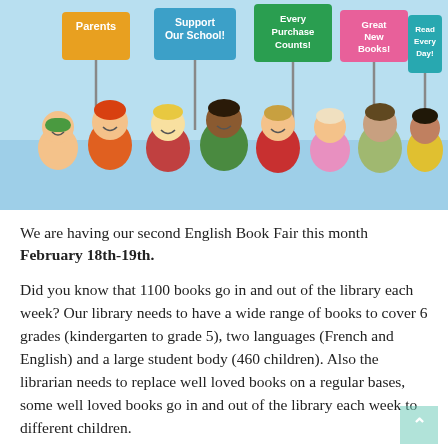[Figure (illustration): Colorful cartoon illustration of a diverse group of children and adults holding up signs that read: 'Parents', 'Support Our School!', 'Every Purchase Counts!', 'Great New Books!', 'Read Every Day!' The background has a light blue band. Characters are cheerful and celebratory.]
We are having our second English Book Fair this month February 18th-19th.
Did you know that 1100 books go in and out of the library each week? Our library needs to have a wide range of books to cover 6 grades (kindergarten to grade 5), two languages (French and English) and a large student body (460 children). Also the librarian needs to replace well loved books on a regular bases, some well loved books go in and out of the library each week to different children.